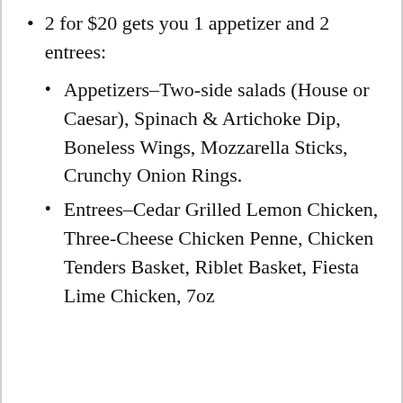2 for $20 gets you 1 appetizer and 2 entrees:
Appetizers–Two-side salads (House or Caesar), Spinach & Artichoke Dip, Boneless Wings, Mozzarella Sticks, Crunchy Onion Rings.
Entrees–Cedar Grilled Lemon Chicken, Three-Cheese Chicken Penne, Chicken Tenders Basket, Riblet Basket, Fiesta Lime Chicken, 7oz